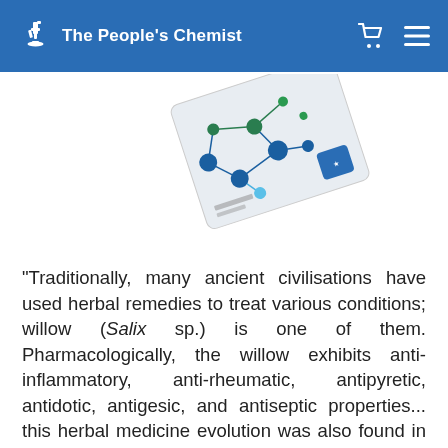The People's Chemist
[Figure (photo): Angled product image of a book or supplement package with molecular network design in blue and green on a white/grey background with a blue certification badge]
"Traditionally, many ancient civilisations have used herbal remedies to treat various conditions; willow (Salix sp.) is one of them. Pharmacologically, the willow exhibits anti-inflammatory, anti-rheumatic, antipyretic, antidotic, antigesic, and antiseptic properties... this herbal medicine evolution was also found in ordinary people who were desperately seeking relief for their pain. The discovery of the